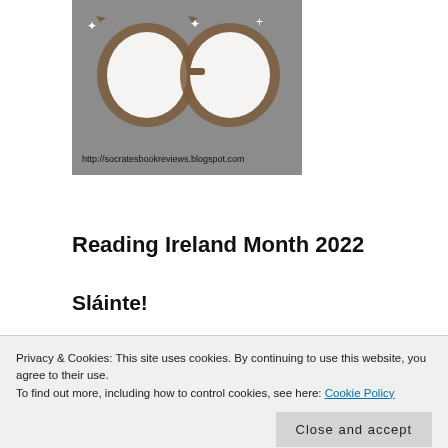[Figure (illustration): Blog logo showing cat-eye glasses with sparkles on a gray background, with URL http://socratesbookreviews.blogspot.com below]
Reading Ireland Month 2022
Sláinte!
[Figure (photo): Black and white photo strip of various people's faces]
Privacy & Cookies: This site uses cookies. By continuing to use this website, you agree to their use.
To find out more, including how to control cookies, see here: Cookie Policy
Close and accept